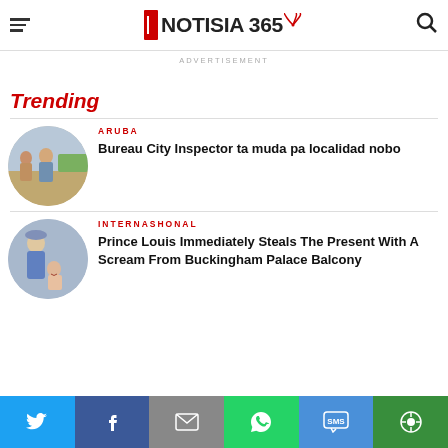NOTISIA 365
ADVERTISEMENT
Trending
ARUBA
Bureau City Inspector ta muda pa localidad nobo
[Figure (photo): Man in suit being interviewed outdoors near vehicles]
INTERNASHONAL
Prince Louis Immediately Steals The Present With A Scream From Buckingham Palace Balcony
[Figure (photo): Elderly woman in blue outfit with crying child at Buckingham Palace balcony]
Share bar: Twitter, Facebook, Email, WhatsApp, SMS, More